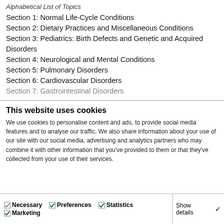Alphabetical List of Topics
Section 1: Normal Life-Cycle Conditions
Section 2: Dietary Practices and Miscellaneous Conditions
Section 3: Pediatrics: Birth Defects and Genetic and Acquired Disorders
Section 4: Neurological and Mental Conditions
Section 5: Pulmonary Disorders
Section 6: Cardiovascular Disorders
Section 7: Gastrointestinal Disorders
This website uses cookies
We use cookies to personalise content and ads, to provide social media features and to analyse our traffic. We also share information about your use of our site with our social media, advertising and analytics partners who may combine it with other information that you've provided to them or that they've collected from your use of their services.
Allow all cookies
Allow selection
Use necessary cookies only
Necessary  Preferences  Statistics  Marketing  Show details